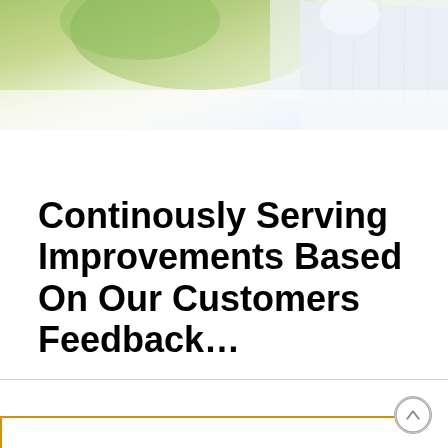[Figure (photo): Partial photo of a person wearing a light blue/white shirt, with a green and white blurred background, cropped at the top of the page]
Continously Serving Improvements Based On Our Customers Feedback…